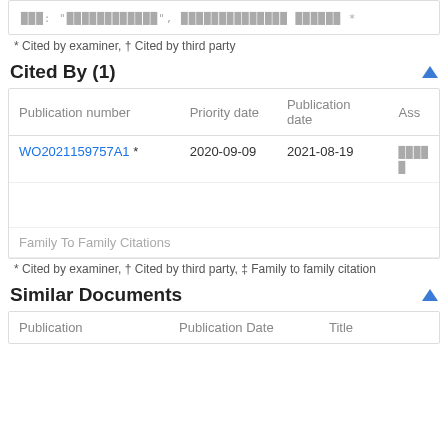[CJK placeholder text with asterisk] *
* Cited by examiner, † Cited by third party
Cited By (1)
| Publication number | Priority date | Publication date | Ass |
| --- | --- | --- | --- |
| WO2021159757A1 * | 2020-09-09 | 2021-08-19 | [CJK] |
Family To Family Citations
* Cited by examiner, † Cited by third party, ‡ Family to family citation
Similar Documents
| Publication | Publication Date | Title |
| --- | --- | --- |